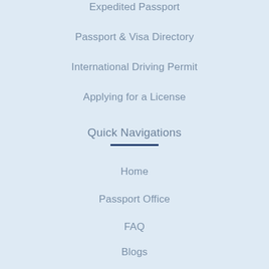Expedited Passport
Passport & Visa Directory
International Driving Permit
Applying for a License
Quick Navigations
Home
Passport Office
FAQ
Blogs